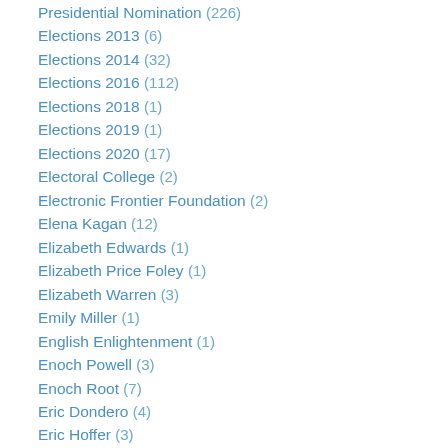Presidential Nomination (226)
Elections 2013 (6)
Elections 2014 (32)
Elections 2016 (112)
Elections 2018 (1)
Elections 2019 (1)
Elections 2020 (17)
Electoral College (2)
Electronic Frontier Foundation (2)
Elena Kagan (12)
Elizabeth Edwards (1)
Elizabeth Price Foley (1)
Elizabeth Warren (3)
Emily Miller (1)
English Enlightenment (1)
Enoch Powell (3)
Enoch Root (7)
Eric Dondero (4)
Eric Hoffer (3)
Eric Holder (49)